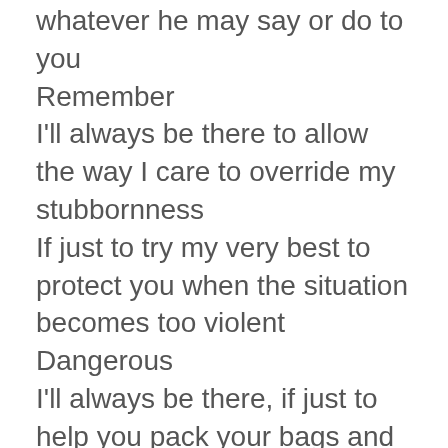whatever he may say or do to you
Remember
I'll always be there to allow the way I care to override my stubbornness
If just to try my very best to protect you when the situation becomes too violent
Dangerous
I'll always be there, if just to help you pack your bags and run with you
Even though I know every time you'll run backwards
Remember
I'll always be there, if just to go back with you to make sure you'll be ok
I'll always be there for you